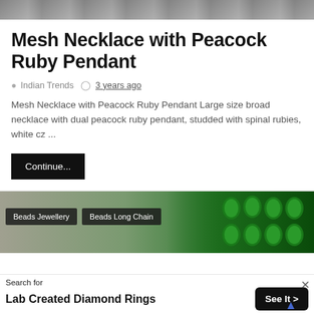[Figure (photo): Top portion of a jewelry photo showing a gold necklace with ruby peacock pendant against a dark background]
Mesh Necklace with Peacock Ruby Pendant
Indian Trends  3 years ago
Mesh Necklace with Peacock Ruby Pendant Large size broad necklace with dual peacock ruby pendant, studded with spinal rubies, white cz ...
Continue...
[Figure (photo): Green beads jewellery photo with dark overlay badges reading 'Beads Jewellery' and 'Beads Long Chain']
Search for
Lab Created Diamond Rings
See It >